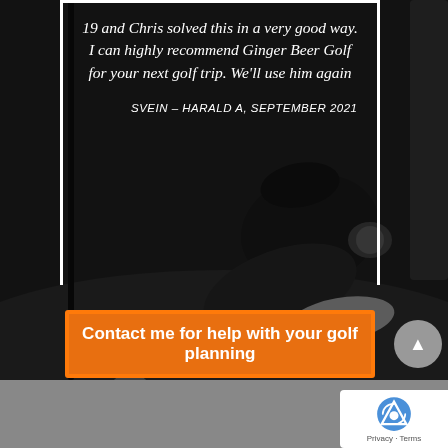[Figure (photo): Black and white photo of a golfer crouching on a putting green, examining a putt, with a golf club leaning nearby. The image is grayscale/desaturated.]
19 and Chris solved this in a very good way. I can highly recommend Ginger Beer Golf for your next golf trip. We'll use him again
SVEIN – HARALD A, SEPTEMBER 2021
Contact me for help with your golf planning